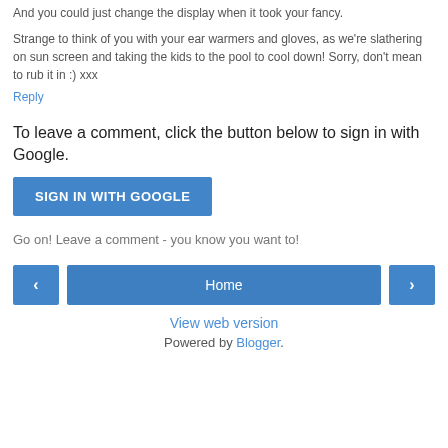And you could just change the display when it took your fancy.
Strange to think of you with your ear warmers and gloves, as we're slathering on sun screen and taking the kids to the pool to cool down! Sorry, don't mean to rub it in :) xxx
Reply
To leave a comment, click the button below to sign in with Google.
SIGN IN WITH GOOGLE
Go on! Leave a comment - you know you want to!
Home
View web version
Powered by Blogger.